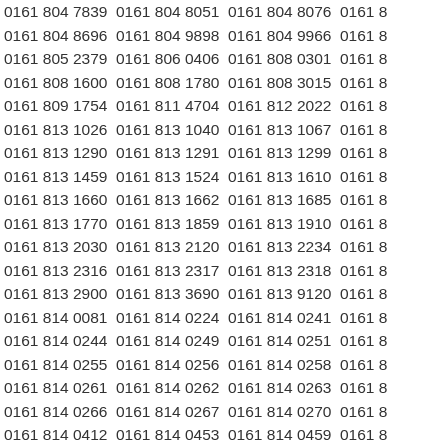Column list of phone numbers starting with 0161, four columns visible, fourth column partially cut off. Numbers include: 0161 804 7839, 0161 804 8051, 0161 804 8076; 0161 804 8696, 0161 804 9898, 0161 804 9966; 0161 805 2379, 0161 806 0406, 0161 808 0301; 0161 808 1600, 0161 808 1780, 0161 808 3015; 0161 809 1754, 0161 811 4704, 0161 812 2022; 0161 813 1026, 0161 813 1040, 0161 813 1067; 0161 813 1290, 0161 813 1291, 0161 813 1299; 0161 813 1459, 0161 813 1524, 0161 813 1610; 0161 813 1660, 0161 813 1662, 0161 813 1685; 0161 813 1770, 0161 813 1859, 0161 813 1910; 0161 813 2030, 0161 813 2120, 0161 813 2234; 0161 813 2316, 0161 813 2317, 0161 813 2318; 0161 813 2900, 0161 813 3690, 0161 813 9120; 0161 814 0081, 0161 814 0224, 0161 814 0241; 0161 814 0244, 0161 814 0249, 0161 814 0251; 0161 814 0255, 0161 814 0256, 0161 814 0258; 0161 814 0261, 0161 814 0262, 0161 814 0263; 0161 814 0266, 0161 814 0267, 0161 814 0270; 0161 814 0412, 0161 814 0453, 0161 814 0459